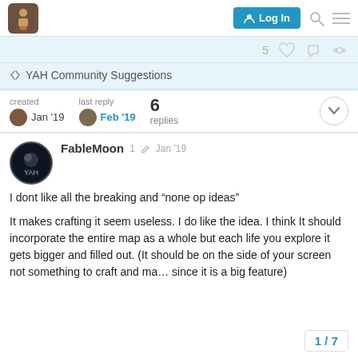Log In
5
YAH Community Suggestions
created Jan '19  last reply Feb '19  6 replies
FableMoon  1  Jan '19
I dont like all the breaking and “none op ideas”
It makes crafting it seem useless. I do like the idea. I think It should incorporate the entire map as a whole but each life you explore it gets bigger and filled out. (It should be on the side of your screen not something to craft and ma… since it is a big feature)
1 / 7